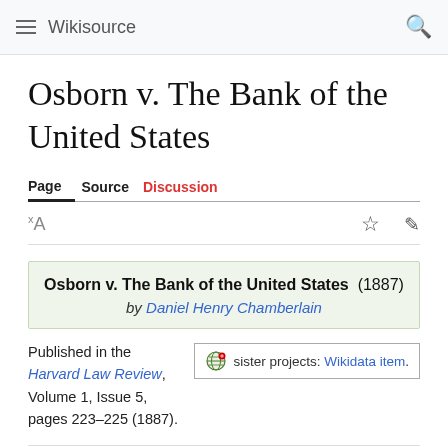Wikisource
Osborn v. The Bank of the United States
Page   Source   Discussion
[Figure (infographic): Wikisource infobox: Osborn v. The Bank of the United States (1887) by Daniel Henry Chamberlain]
Published in the Harvard Law Review, Volume 1, Issue 5, pages 223–225 (1887).
sister projects: Wikidata item.